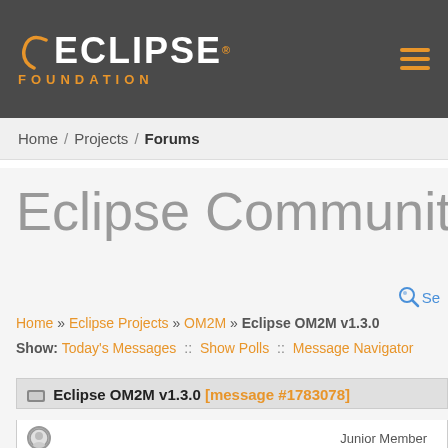ECLIPSE FOUNDATION
Home / Projects / Forums
Eclipse Community Forum
Home » Eclipse Projects » OM2M » Eclipse OM2M v1.3.0
Show: Today's Messages :: Show Polls :: Message Navigator
Eclipse OM2M v1.3.0 [message #1783078]
Junior Member